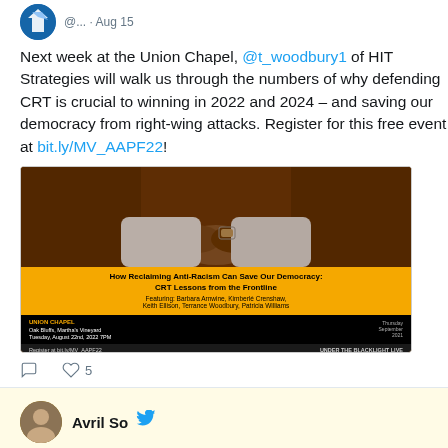@... · Aug 15
Next week at the Union Chapel, @t_woodbury1 of HIT Strategies will walk us through the numbers of why defending CRT is crucial to winning in 2022 and 2024 – and saving our democracy from right-wing attacks. Register for this free event at bit.ly/MV_AAPF22!
[Figure (photo): Event flyer for 'How Reclaiming Anti-Racism Can Save Our Democracy: CRT Lessons from the Frontline' at Union Chapel, Oak Bluffs, Martha's Vineyard, Tuesday August 22nd, 2022 7PM. Featuring Barbara Arnwine, Kimberlé Crenshaw, Keith Ellison, Terrance Woodbury, Patricia Williams. Register at bit.ly/MV_AAPF22 | UNDER THE BLACKLIGHT LIVE]
5 likes
Avril So